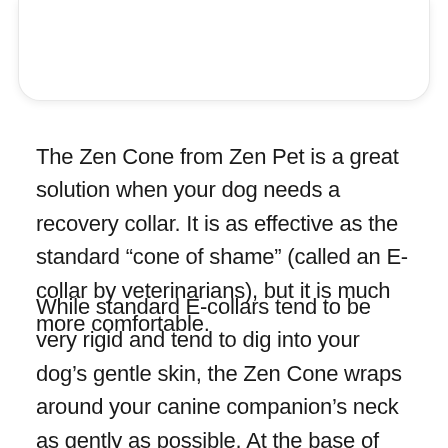[Figure (other): Top portion of a rounded white card/box element, partially visible at the top of the page]
The Zen Cone from Zen Pet is a great solution when your dog needs a recovery collar. It is as effective as the standard “cone of shame” (called an E-collar by veterinarians), but it is much more comfortable.
While standard E-collars tend to be very rigid and tend to dig into your dog’s gentle skin, the Zen Cone wraps around your canine companion’s neck as gently as possible. At the base of the cone there is an adjustable collar so you can easily get the perfect fit. The Whole one is actually